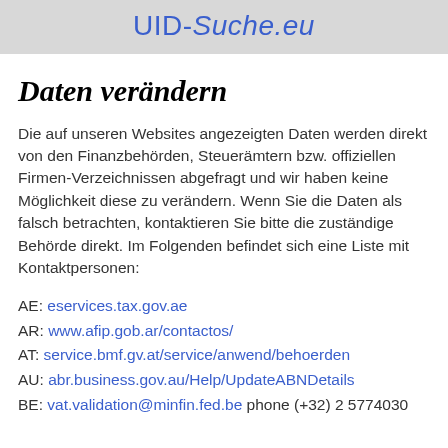UID-Suche.eu
Daten verändern
Die auf unseren Websites angezeigten Daten werden direkt von den Finanzbehörden, Steuerämtern bzw. offiziellen Firmen-Verzeichnissen abgefragt und wir haben keine Möglichkeit diese zu verändern. Wenn Sie die Daten als falsch betrachten, kontaktieren Sie bitte die zuständige Behörde direkt. Im Folgenden befindet sich eine Liste mit Kontaktpersonen:
AE: eservices.tax.gov.ae
AR: www.afip.gob.ar/contactos/
AT: service.bmf.gv.at/service/anwend/behoerden
AU: abr.business.gov.au/Help/UpdateABNDetails
BE: vat.validation@minfin.fed.be phone (+32) 2 5774030